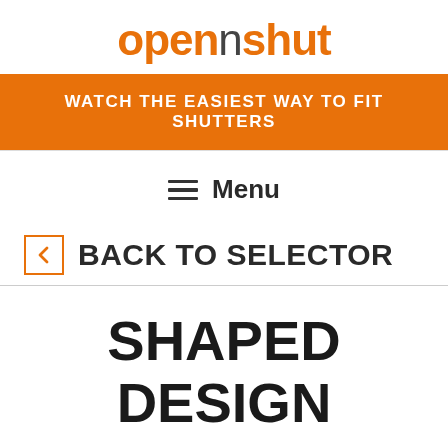opennshut
WATCH THE EASIEST WAY TO FIT SHUTTERS
Menu
BACK TO SELECTOR
SHAPED DESIGN
Shutters are ideal for shaped windows because they can be